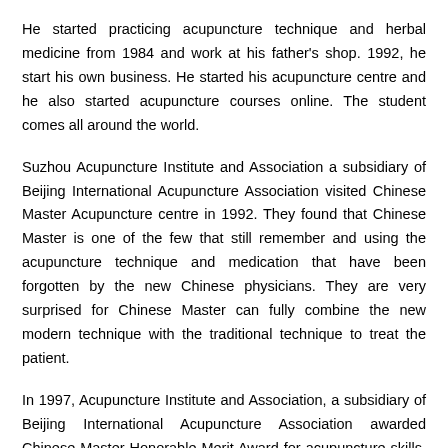He started practicing acupuncture technique and herbal medicine from 1984 and work at his father's shop. 1992, he start his own business. He started his acupuncture centre and he also started acupuncture courses online. The student comes all around the world.
Suzhou Acupuncture Institute and Association a subsidiary of Beijing International Acupuncture Association visited Chinese Master Acupuncture centre in 1992. They found that Chinese Master is one of the few that still remember and using the acupuncture technique and medication that have been forgotten by the new Chinese physicians. They are very surprised for Chinese Master can fully combine the new modern technique with the traditional technique to treat the patient.
In 1997, Acupuncture Institute and Association, a subsidiary of Beijing International Acupuncture Association awarded Chinese Master Honorable Merit Award for acupuncture skills. Chinese Master is the first South-East Asia Acupuncturist who gets this award.
Chinese Master is very well known in worldwide. His patient comes